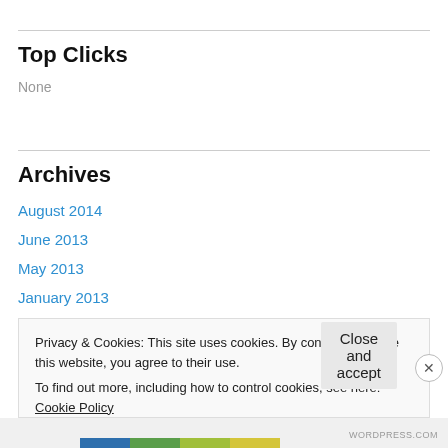Top Clicks
None
Archives
August 2014
June 2013
May 2013
January 2013
Privacy & Cookies: This site uses cookies. By continuing to use this website, you agree to their use.
To find out more, including how to control cookies, see here: Cookie Policy
Close and accept